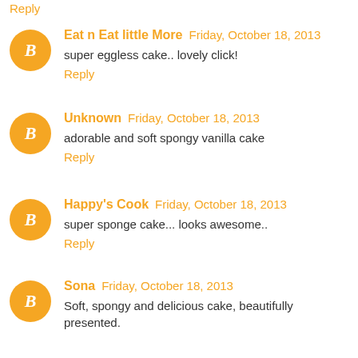Reply
Eat n Eat little More  Friday, October 18, 2013
super eggless cake.. lovely click!
Reply
Unknown  Friday, October 18, 2013
adorable and soft spongy vanilla cake
Reply
Happy's Cook  Friday, October 18, 2013
super sponge cake... looks awesome..
Reply
Sona  Friday, October 18, 2013
Soft, spongy and delicious cake, beautifully presented.